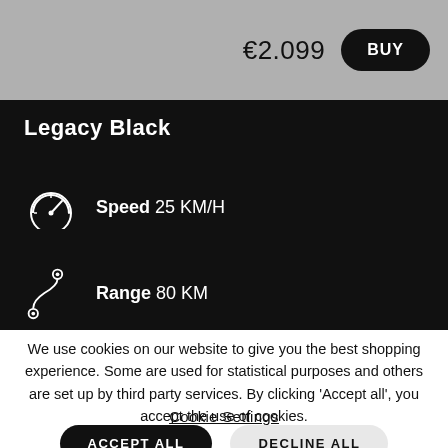€2.099  BUY
Legacy Black
Speed 25 KM/H
Range 80 KM
We use cookies on our website to give you the best shopping experience. Some are used for statistical purposes and others are set up by third party services. By clicking 'Accept all', you accept the use of cookies.
Cookie Settings
ACCEPT ALL
DECLINE ALL